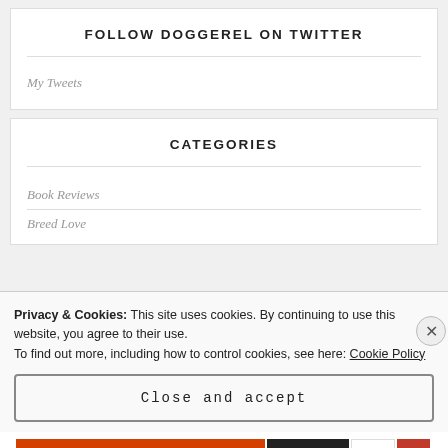FOLLOW DOGGEREL ON TWITTER
My Tweets
CATEGORIES
Book Reviews
Breed Love
Privacy & Cookies: This site uses cookies. By continuing to use this website, you agree to their use.
To find out more, including how to control cookies, see here: Cookie Policy
Close and accept